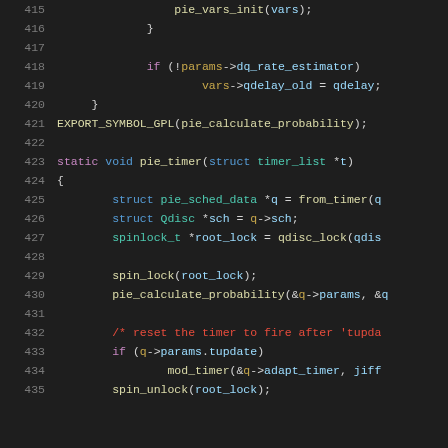Source code listing showing C function pie_timer and surrounding code, lines 415-435
415:                 pie_vars_init(vars);
416:             }
417: (blank)
418:             if (!params->dq_rate_estimator)
419:                     vars->qdelay_old = qdelay;
420:     }
421: EXPORT_SYMBOL_GPL(pie_calculate_probability);
422: (blank)
423: static void pie_timer(struct timer_list *t)
424: {
425:         struct pie_sched_data *q = from_timer(q
426:         struct Qdisc *sch = q->sch;
427:         spinlock_t *root_lock = qdisc_lock(qdis
428: (blank)
429:         spin_lock(root_lock);
430:         pie_calculate_probability(&q->params, &
431: (blank)
432:         /* reset the timer to fire after 'tupda
433:         if (q->params.tupdate)
434:                 mod_timer(&q->adapt_timer, jiff
435:         spin_unlock(root_lock);